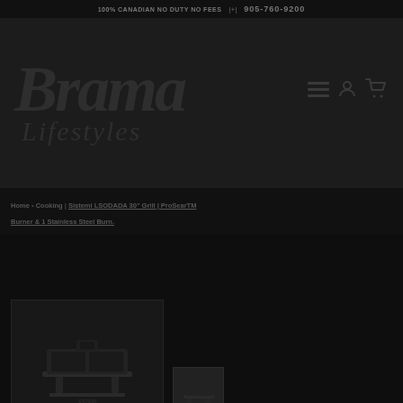100% Canadian No Duty No Fees | +1 905-760-9200
[Figure (logo): Brama Lifestyles logo in dark italic serif font on dark background with hamburger menu, account, and cart icons]
Home > Cooking | Sistemi LSODADA 30" Grill | ProSearTM Burner & 1 Stainless Steel Burn.
[Figure (photo): Product page showing Sistemi LSODADA 30 inch grill with thumbnail image on right side]